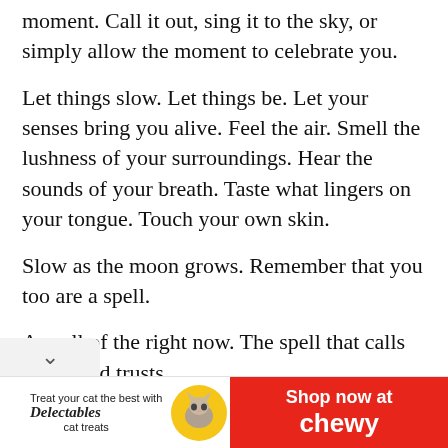moment. Call it out, sing it to the sky, or simply allow the moment to celebrate you.
Let things slow. Let things be. Let your senses bring you alive. Feel the air. Smell the lushness of your surroundings. Hear the sounds of your breath. Taste what lingers on your tongue. Touch your own skin.
Slow as the moon grows. Remember that you too are a spell.
A spell of the right now. The spell that calls calms and trusts.
[Figure (other): Advertisement banner for Delectables cat treats with Chewy branding. Shows 'Treat your cat the best with Delectables cat treats' on left with cat photo, and 'Shop now at chewy' on red background on right.]